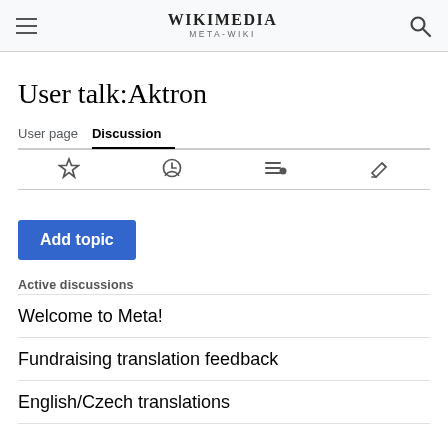WIKIMEDIA META-WIKI
User talk:Aktron
User page  Discussion
Active discussions
Welcome to Meta!
Fundraising translation feedback
English/Czech translations